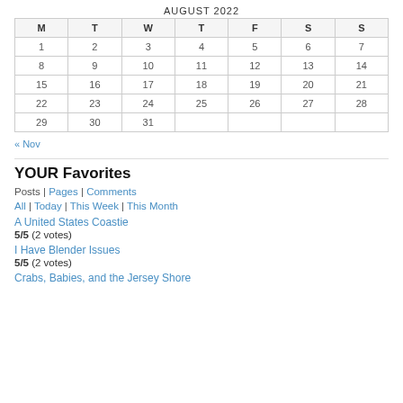AUGUST 2022
| M | T | W | T | F | S | S |
| --- | --- | --- | --- | --- | --- | --- |
| 1 | 2 | 3 | 4 | 5 | 6 | 7 |
| 8 | 9 | 10 | 11 | 12 | 13 | 14 |
| 15 | 16 | 17 | 18 | 19 | 20 | 21 |
| 22 | 23 | 24 | 25 | 26 | 27 | 28 |
| 29 | 30 | 31 |  |  |  |  |
« Nov
YOUR Favorites
Posts | Pages | Comments
All | Today | This Week | This Month
A United States Coastie
5/5 (2 votes)
I Have Blender Issues
5/5 (2 votes)
Crabs, Babies, and the Jersey Shore